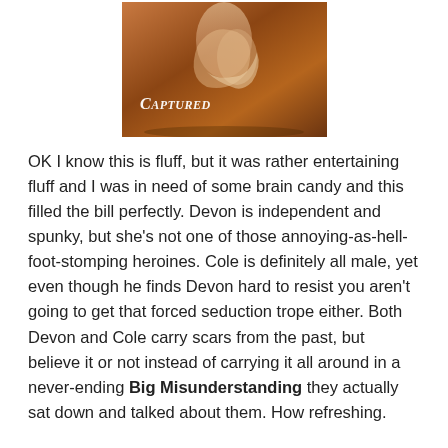[Figure (illustration): Book cover of 'Captured' showing two figures in an embrace against a warm brown/terracotta background with the title 'CAPTURED' in large italic script at the bottom.]
OK I know this is fluff, but it was rather entertaining fluff and I was in need of some brain candy and this filled the bill perfectly. Devon is independent and spunky, but she's not one of those annoying-as-hell-foot-stomping heroines. Cole is definitely all male, yet even though he finds Devon hard to resist you aren't going to get that forced seduction trope either. Both Devon and Cole carry scars from the past, but believe it or not instead of carrying it all around in a never-ending Big Misunderstanding they actually sat down and talked about them. How refreshing.